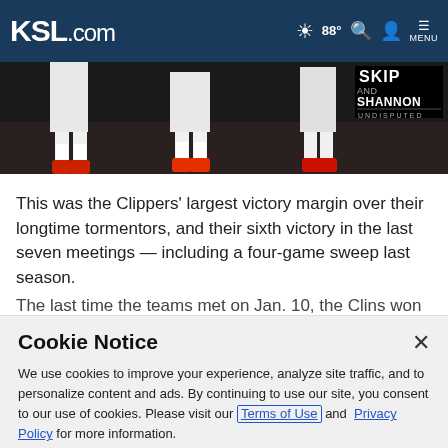KSL.com — 88° Search Account Menu
[Figure (photo): Basketball players' legs and sneakers visible from below during a game, with Skip and Shannon Undisputed logo overlay in bottom right corner]
This was the Clippers' largest victory margin over their longtime tormentors, and their sixth victory in the last seven meetings — including a four-game sweep last season.
The last time the teams met on Jan. 10, the Clins won 123-
Cookie Notice
We use cookies to improve your experience, analyze site traffic, and to personalize content and ads. By continuing to use our site, you consent to our use of cookies. Please visit our Terms of Use and Privacy Policy for more information.
Continue